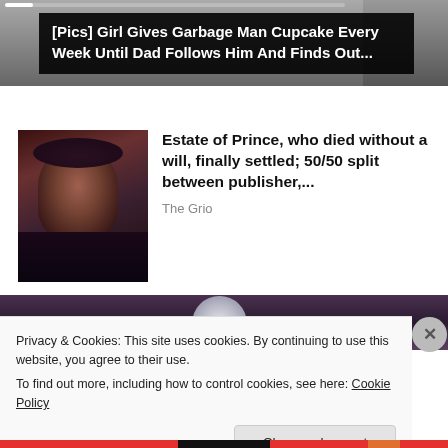[Figure (screenshot): Top banner image with dark overlay showing clickbait headline]
[Pics] Girl Gives Garbage Man Cupcake Every Week Until Dad Follows Him And Finds Out...
[Figure (photo): Photo of Prince, musician]
Estate of Prince, who died without a will, finally settled; 50/50 split between publisher,...
The Grio
[Figure (screenshot): Bottom banner image strip with circular object]
Privacy & Cookies: This site uses cookies. By continuing to use this website, you agree to their use.
To find out more, including how to control cookies, see here: Cookie Policy
Close and accept